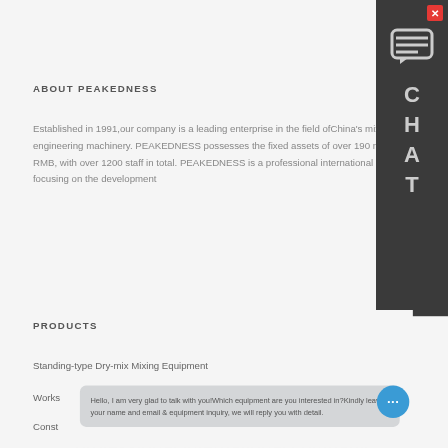ABOUT PEAKEDNESS
Established in 1991,our company is a leading enterprise in the field ofChina's mixing engineering machinery. PEAKEDNESS possesses the fixed assets of over 190 million RMB, with over 1200 staff in total. PEAKEDNESS is a professional international company focusing on the development
PRODUCTS
Standing-type Dry-mix Mixing Equipment
Works
Const
[Figure (other): Chat sidebar with close button (X), chat bubble icon, and C H A T vertical text label on dark background]
Hello, I am very glad to talk with you!Which equipment are you interested in?Kindly leave your name and email & equipment inquiry, we will reply you with detail.